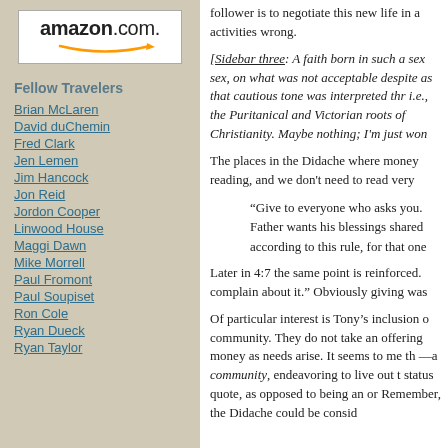[Figure (logo): Amazon.com logo with orange arrow underneath]
Fellow Travelers
Brian McLaren
David duChemin
Fred Clark
Jen Lemen
Jim Hancock
Jon Reid
Jordon Cooper
Linwood House
Maggi Dawn
Mike Morrell
Paul Fromont
Paul Soupiset
Ron Cole
Ryan Dueck
Ryan Taylor
follower is to negotiate this new life in a activities wrong.
[Sidebar three: A faith born in such a sex sex, on what was not acceptable despite as that cautious tone was interpreted thr i.e., the Puritanical and Victorian roots of Christianity. Maybe nothing; I'm just won
The places in the Didache where money reading, and we don't need to read very
“Give to everyone who asks you. Father wants his blessings shared according to this rule, for that one
Later in 4:7 the same point is reinforced. complain about it.” Obviously giving was
Of particular interest is Tony’s inclusion o community. They do not take an offering money as needs arise. It seems to me th —a community, endeavoring to live out t status quote, as opposed to being an or Remember, the Didache could be consid